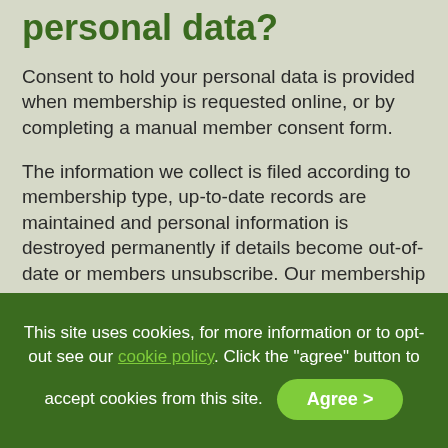personal data?
Consent to hold your personal data is provided when membership is requested online, or by completing a manual member consent form.
The information we collect is filed according to membership type, up-to-date records are maintained and personal information is destroyed permanently if details become out-of-date or members unsubscribe.  Our membership list and address book are password protected and access is limited to the GDPR Officer, Secretary and Membership Secretary
This site uses cookies, for more information or to opt-out see our cookie policy. Click the "agree" button to accept cookies from this site.